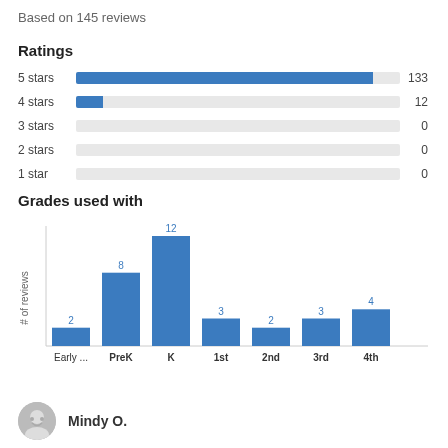Based on 145 reviews
Ratings
| Stars | Count |
| --- | --- |
| 5 stars | 133 |
| 4 stars | 12 |
| 3 stars | 0 |
| 2 stars | 0 |
| 1 star | 0 |
Grades used with
[Figure (bar-chart): Grades used with]
Mindy O.